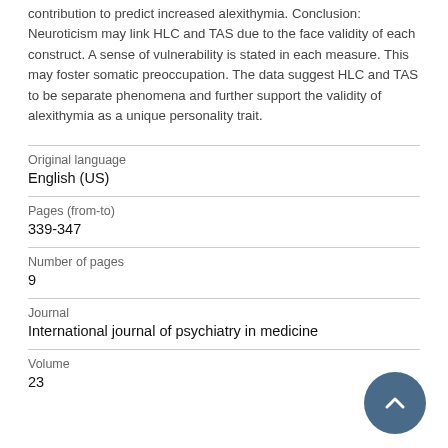contribution to predict increased alexithymia. Conclusion: Neuroticism may link HLC and TAS due to the face validity of each construct. A sense of vulnerability is stated in each measure. This may foster somatic preoccupation. The data suggest HLC and TAS to be separate phenomena and further support the validity of alexithymia as a unique personality trait.
| Original language | English (US) |
| Pages (from-to) | 339-347 |
| Number of pages | 9 |
| Journal | International journal of psychiatry in medicine |
| Volume | 23 |